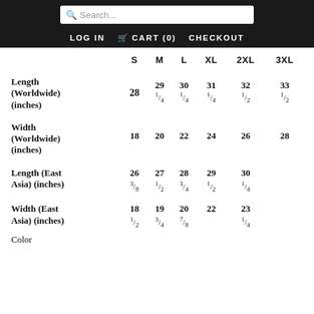Search... LOG IN CART (0) CHECKOUT
|  | S | M | L | XL | 2XL | 3XL |
| --- | --- | --- | --- | --- | --- | --- |
| Length (Worldwide) (inches) | 28 | 29 1/4 | 30 1/4 | 31 1/4 | 32 1/2 | 33 1/2 |
| Width (Worldwide) (inches) | 18 | 20 | 22 | 24 | 26 | 28 |
| Length (East Asia) (inches) | 26 3/8 | 27 1/2 | 28 3/4 | 29 1/2 | 30 1/4 |  |
| Width (East Asia) (inches) | 18 1/2 | 19 3/4 | 20 7/8 | 22 | 23 1/4 |  |
Color